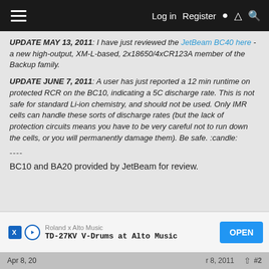Log in  Register
UPDATE MAY 13, 2011: I have just reviewed the JetBeam BC40 here - a new high-output, XM-L-based, 2x18650/4xCR123A member of the Backup family.
UPDATE JUNE 7, 2011: A user has just reported a 12 min runtime on protected RCR on the BC10, indicating a 5C discharge rate. This is not safe for standard Li-ion chemistry, and should not be used. Only IMR cells can handle these sorts of discharge rates (but the lack of protection circuits means you have to be very careful not to run down the cells, or you will permanently damage them). Be safe. :candle:
----
BC10 and BA20 provided by JetBeam for review.
Apr 8, 20...  Apr 8, 2011